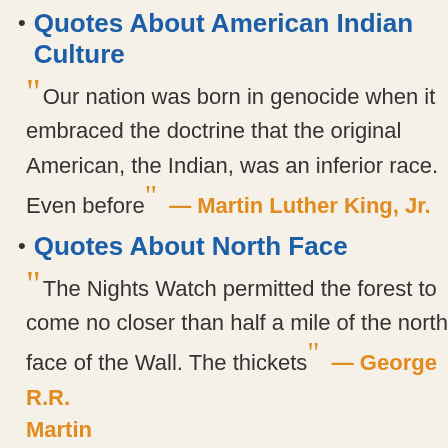Quotes About American Indian Culture
"Our nation was born in genocide when it embraced the doctrine that the original American, the Indian, was an inferior race. Even before" — Martin Luther King, Jr.
Quotes About North Face
"The Nights Watch permitted the forest to come no closer than half a mile of the north face of the Wall. The thickets" — George R.R. Martin
Quotes About Destination Addiction